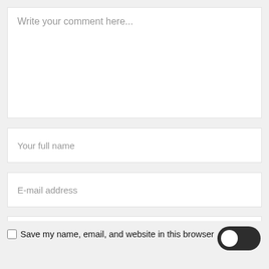Write your comment here...
Your full name
E-mail address
Website
Save my name, email, and website in this browser for the next time I comment.
[Figure (illustration): Dark mode toggle switch button with light/dark icons]